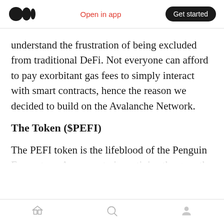Open in app | Get started
understand the frustration of being excluded from traditional DeFi. Not everyone can afford to pay exorbitant gas fees to simply interact with smart contracts, hence the reason we decided to build on the Avalanche Network.
The Token ($PEFI)
The PEFI token is the lifeblood of the Penguin Ecosystem. As a way to incentivize the growth of the Penguin Finance (PeFi) ecosystem and ensure that it is always expanding, mechanisms will be implemented so that fees paid for services
Home | Search | Profile